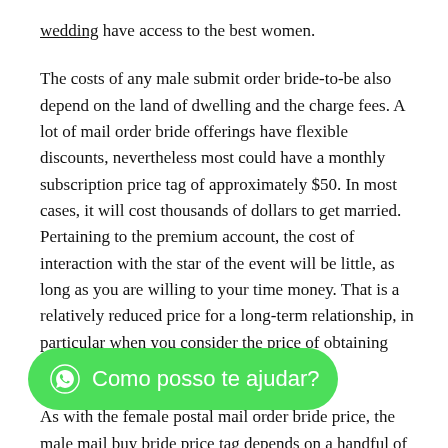wedding have access to the best women.
The costs of any male submit order bride-to-be also depend on the land of dwelling and the charge fees. A lot of mail order bride offerings have flexible discounts, nevertheless most could have a monthly subscription price tag of approximately $50. In most cases, it will cost thousands of dollars to get married. Pertaining to the premium account, the cost of interaction with the star of the event will be little, as long as you are willing to your time money. That is a relatively reduced price for a long-term relationship, in particular when you consider the price of obtaining nationality.
As with the female postal mail order bride price, the male mail buy bride price tag depends on a handful of elements. The online dating process is extremely complicated and a visa for australia and transportation company must be paid. Additionally it is important to consider the
[Figure (other): WhatsApp chat button with green background and text 'Como posso te ajudar?']